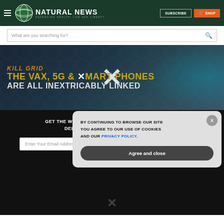NATURAL NEWS — DEFENDING HEALTH, LIFE AND LIBERTY
What are you searching for?
[Figure (illustration): Promotional banner image with text: KILL GRID / THE VAX, 5G & SMART PHONES / ARE ALL INEXTRICABLY LINKED, on dark teal/blue background with hexagonal pattern]
GET THE WORLD'S BEST NATURAL HEALTH NEWSLETTER DELIVERED STRAIGHT TO YOUR INBOX
Enter Your Email Address
SUBSCRIBE
BY CONTINUING TO BROWSE OUR SITE YOU AGREE TO OUR USE OF COOKIES AND OUR PRIVACY POLICY.
Agree and close